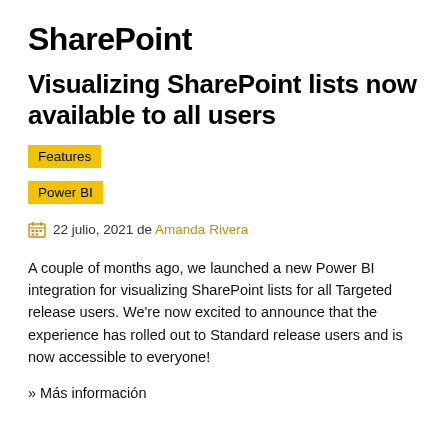SharePoint
Visualizing SharePoint lists now available to all users
Features
Power BI
22 julio, 2021 de Amanda Rivera
A couple of months ago, we launched a new Power BI integration for visualizing SharePoint lists for all Targeted release users. We’re now excited to announce that the experience has rolled out to Standard release users and is now accessible to everyone!
» Más información